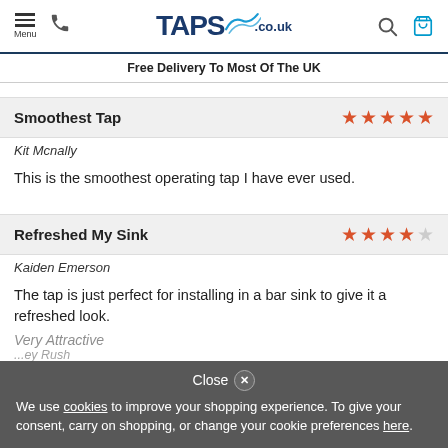TAPS.co.uk — Menu, phone, search, cart
Free Delivery To Most Of The UK
Smoothest Tap ★★★★★
Kit Mcnally
This is the smoothest operating tap I have ever used.
Refreshed My Sink ★★★★☆
Kaiden Emerson
The tap is just perfect for installing in a bar sink to give it a refreshed look.
Very Attractive (partially visible)
...ey Rush (partially visible)
Close ✕ We use cookies to improve your shopping experience. To give your consent, carry on shopping, or change your cookie preferences here.